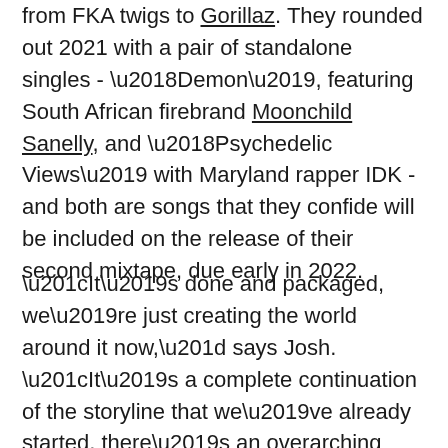from FKA twigs to Gorillaz. They rounded out 2021 with a pair of standalone singles - 'Demon', featuring South African firebrand Moonchild Sanelly, and 'Psychedelic Views' with Maryland rapper IDK - and both are songs that they confide will be included on the release of their second mixtape, due early in 2022.
“It’s done and packaged, we’re just creating the world around it now,” says Josh. “It’s a complete continuation of the storyline that we’ve already started, there’s an overarching theme.” Although separate releases, they consider their debut pair of mixtapes - the first of which was released in early ‘21 - to be